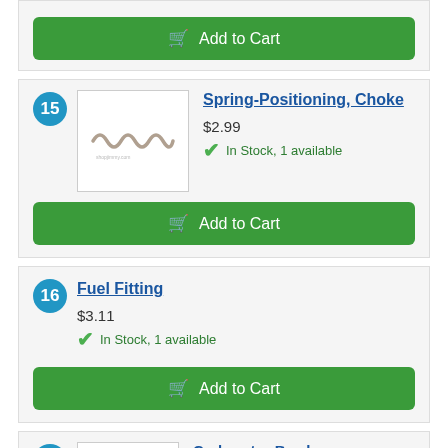Add to Cart (top partial button)
15
[Figure (photo): Photo of a small coil spring (Spring-Positioning, Choke part)]
Spring-Positioning, Choke
$2.99
In Stock, 1 available
Add to Cart
16
Fuel Fitting
$3.11
In Stock, 1 available
Add to Cart
25
Carburetor Bowl (partial)